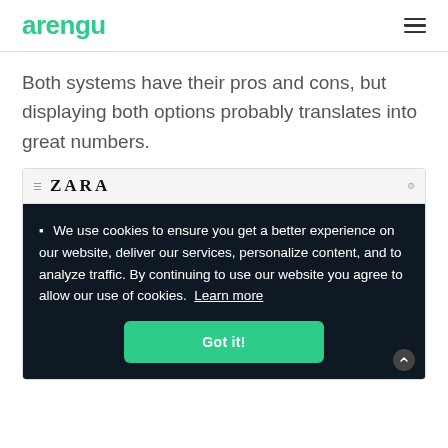arengu
Both systems have their pros and cons, but displaying both options probably translates into great numbers.
[Figure (screenshot): Screenshot of the Zara website showing a cookie consent banner over the Zara homepage. The banner has a dark background and reads: 'We use cookies to ensure you get a better experience on our website, deliver our services, personalize content, and to analyze traffic. By continuing to use our website you agree to allow our use of cookies. Learn more' with a green 'Got it!' button.]